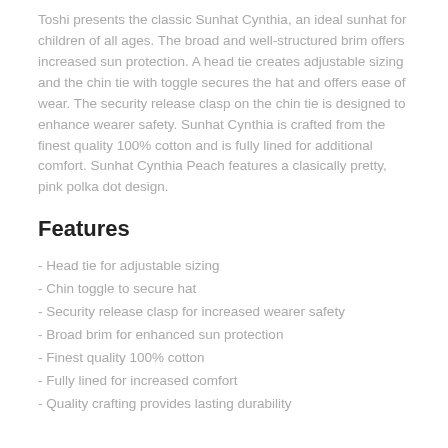Toshi presents the classic Sunhat Cynthia, an ideal sunhat for children of all ages. The broad and well-structured brim offers increased sun protection. A head tie creates adjustable sizing and the chin tie with toggle secures the hat and offers ease of wear. The security release clasp on the chin tie is designed to enhance wearer safety. Sunhat Cynthia is crafted from the finest quality 100% cotton and is fully lined for additional comfort. Sunhat Cynthia Peach features a clasically pretty, pink polka dot design.
Features
- Head tie for adjustable sizing
- Chin toggle to secure hat
- Security release clasp for increased wearer safety
- Broad brim for enhanced sun protection
- Finest quality 100% cotton
- Fully lined for increased comfort
- Quality crafting provides lasting durability